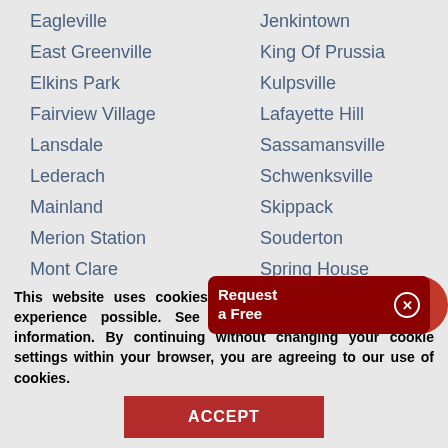Eagleville
Jenkintown
East Greenville
King Of Prussia
Elkins Park
Kulpsville
Fairview Village
Lafayette Hill
Lansdale
Sassamansville
Lederach
Schwenksville
Mainland
Skippack
Merion Station
Souderton
Mont Clare
Spring House
Montgomeryville
Sprin...
Norberth (partial)
Sum... (partial)
[Figure (other): Cookie consent popup overlay with dark red rounded rectangle saying 'Request a Free' with an X close button and a partial red circle icon]
This website uses cookies to help provide you the best experience possible. See our Privacy Policy for more information. By continuing without changing your cookie settings within your browser, you are agreeing to our use of cookies.
ACCEPT